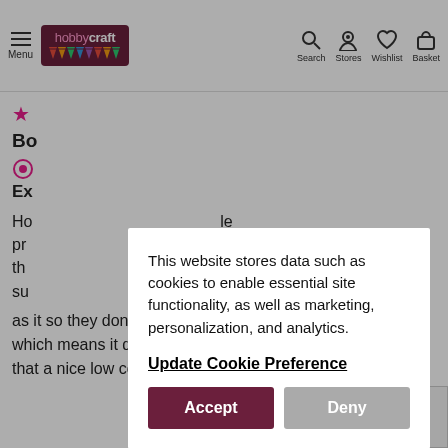Menu | hobbycraft | Search | Stores | Wishlist | Basket
Bo... Ex...
This website stores data such as cookies to enable essential site functionality, as well as marketing, personalization, and analytics.

Update Cookie Preference

[Accept] [Deny]
as it so they don't support the canvas across the middle, which means it dips quite a bit when painting. Other than that a nice low cost canvas